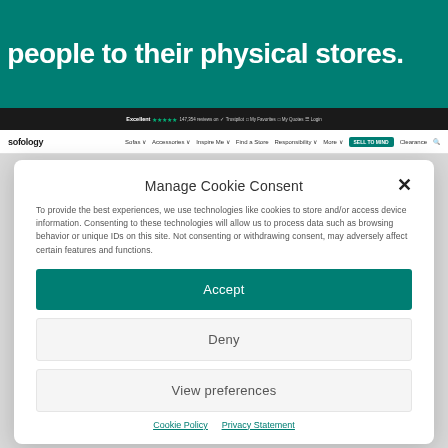people to their physical stores.
[Figure (screenshot): Sofology website navigation bar with Trustpilot rating and menu links]
Manage Cookie Consent
To provide the best experiences, we use technologies like cookies to store and/or access device information. Consenting to these technologies will allow us to process data such as browsing behavior or unique IDs on this site. Not consenting or withdrawing consent, may adversely affect certain features and functions.
Accept
Deny
View preferences
Cookie Policy   Privacy Statement